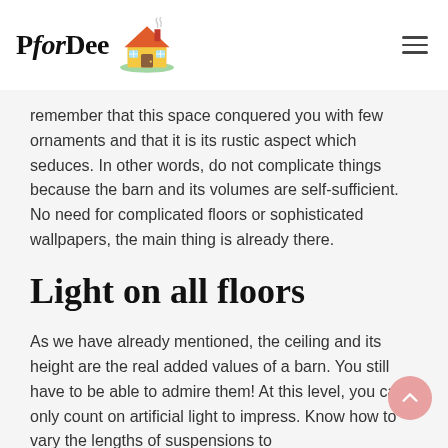PforDee
remember that this space conquered you with few ornaments and that it is its rustic aspect which seduces. In other words, do not complicate things because the barn and its volumes are self-sufficient. No need for complicated floors or sophisticated wallpapers, the main thing is already there.
Light on all floors
As we have already mentioned, the ceiling and its height are the real added values of a barn. You still have to be able to admire them! At this level, you can only count on artificial light to impress. Know how to vary the lengths of suspensions to